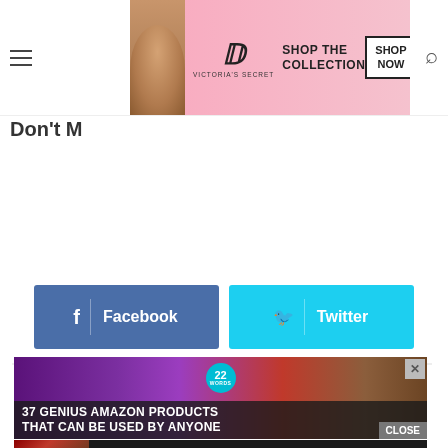[Figure (screenshot): Website page showing hamburger menu icon on left, Victoria's Secret banner advertisement in center-top, search icon on right, partial text 'Don't M' visible below ad, social sharing buttons for Facebook and Twitter in middle, a light gray content placeholder box, a '37 Genius Amazon Products That Can Be Used By Anyone' advertisement with purple headphones and 22Words badge, and a Seamless food delivery advertisement at bottom]
Don't M
[Figure (screenshot): Facebook share button - dark blue button with 'f' icon and 'Facebook' text]
[Figure (screenshot): Twitter share button - light blue button with bird icon and 'Twitter' text]
[Figure (screenshot): 37 Genius Amazon Products That Can Be Used By Anyone - advertisement with purple headphones, 22Words circular badge, close X button, and CLOSE label]
[Figure (screenshot): Seamless food delivery advertisement with pizza image, seamless logo in red, and ORDER NOW button]